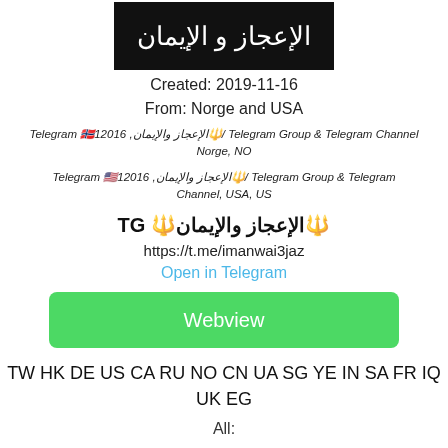[Figure (other): Banner image with Arabic text on black background: الإعجاز و الإيمان]
Created: 2019-11-16
From: Norge and USA
Telegram 🇳🇴12016 ,الإعجاز والإيمان🔱/ Telegram Group & Telegram Channel Norge, NO
Telegram 🇺🇸12016 ,الإعجاز والإيمان🔱/ Telegram Group & Telegram Channel, USA, US
TG 🔱الإعجاز والإيمان🔱
https://t.me/imanwai3jaz
Open in Telegram
[Figure (other): Green Webview button]
TW HK DE US CA RU NO CN UA SG YE IN SA FR IQ UK EG
All: